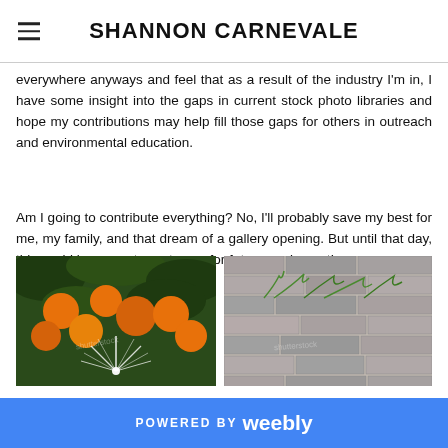SHANNON CARNEVALE
everywhere anyways and feel that as a result of the industry I'm in, I have some insight into the gaps in current stock photo libraries and hope my contributions may help fill those gaps for others in outreach and environmental education.
Am I going to contribute everything? No, I'll probably save my best for me, my family, and that dream of a gallery opening. But until that day, this could be a great way to pay for future equipment!
[Figure (photo): Oranges/mandarins on a tree with sunburst light effect]
[Figure (photo): Green plant growing through cracks in an old brick wall]
POWERED BY weebly